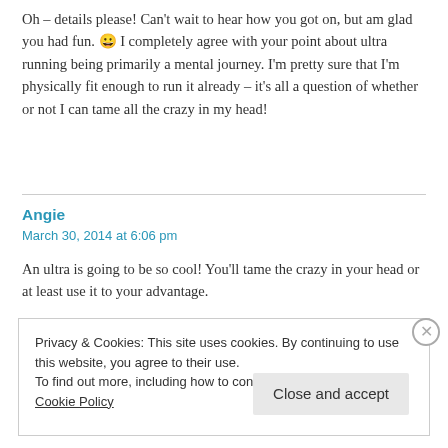Oh – details please! Can't wait to hear how you got on, but am glad you had fun. 😀 I completely agree with your point about ultra running being primarily a mental journey. I'm pretty sure that I'm physically fit enough to run it already – it's all a question of whether or not I can tame all the crazy in my head!
Angie
March 30, 2014 at 6:06 pm
An ultra is going to be so cool! You'll tame the crazy in your head or at least use it to your advantage.
Privacy & Cookies: This site uses cookies. By continuing to use this website, you agree to their use.
To find out more, including how to control cookies, see here: Cookie Policy
Close and accept